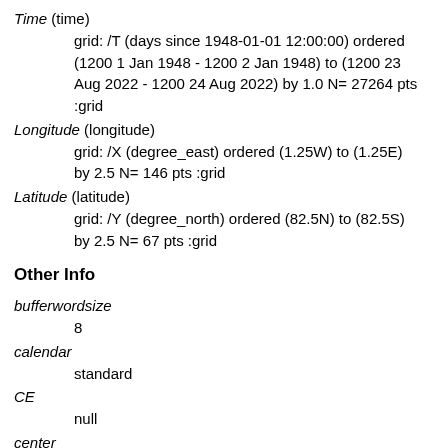Time (time)
    grid: /T (days since 1948-01-01 12:00:00) ordered (1200 1 Jan 1948 - 1200 2 Jan 1948) to (1200 23 Aug 2022 - 1200 24 Aug 2022) by 1.0 N= 27264 pts :grid
Longitude (longitude)
    grid: /X (degree_east) ordered (1.25W) to (1.25E) by 2.5 N= 146 pts :grid
Latitude (latitude)
    grid: /Y (degree_north) ordered (82.5N) to (82.5S) by 2.5 N= 67 pts :grid
Other Info
bufferwordsize
    8
calendar
    standard
CE
    null
center
    US Weather Service - National Met. Center
CS
    null